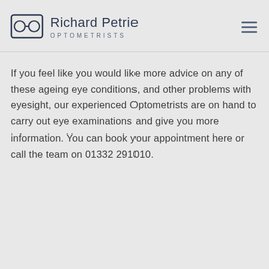Richard Petrie OPTOMETRISTS
If you feel like you would like more advice on any of these ageing eye conditions, and other problems with eyesight, our experienced Optometrists are on hand to carry out eye examinations and give you more information. You can book your appointment here or call the team on 01332 291010.